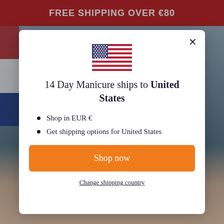FREE SHIPPING OVER €80
[Figure (illustration): US flag icon]
14 Day Manicure ships to United States
Shop in EUR €
Get shipping options for United States
Shop now
Change shipping country